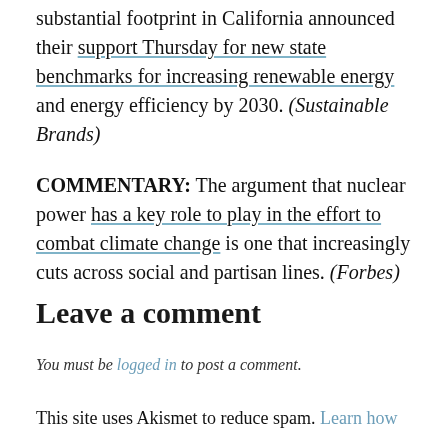substantial footprint in California announced their support Thursday for new state benchmarks for increasing renewable energy and energy efficiency by 2030. (Sustainable Brands)
COMMENTARY: The argument that nuclear power has a key role to play in the effort to combat climate change is one that increasingly cuts across social and partisan lines. (Forbes)
Leave a comment
You must be logged in to post a comment.
This site uses Akismet to reduce spam. Learn how